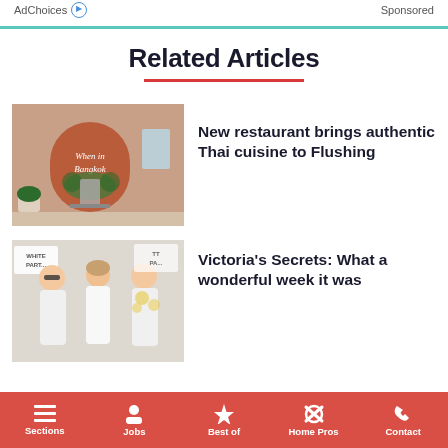AdChoices  Sponsored
Related Articles
[Figure (photo): Interior of a Thai restaurant with a terracotta arch reading 'When in Bangkok', floral decorations and a chair]
New restaurant brings authentic Thai cuisine to Flushing
[Figure (photo): Three people in white outfits posing at what appears to be a White Party event]
Victoria's Secrets: What a wonderful week it was
Sections  Jobs  Best of  Home Pros  Contact